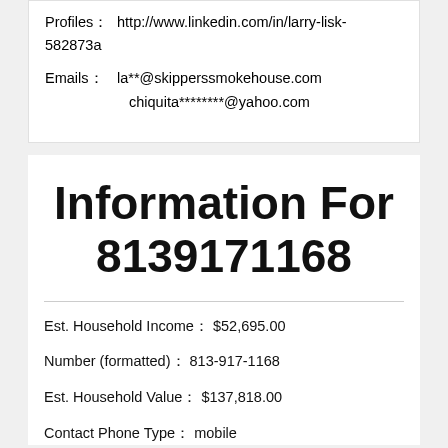Profiles: http://www.linkedin.com/in/larry-lisk-582873a
Emails: la**@skipperssmokehouse.com
chiquita********@yahoo.com
Information For 8139171168
Est. Household Income: $52,695.00
Number (formatted): 813-917-1168
Est. Household Value: $137,818.00
Contact Phone Type: mobile